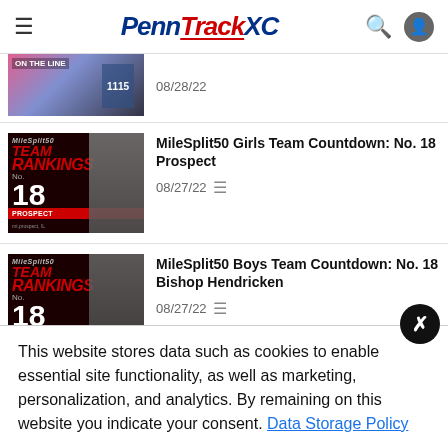PennTrackXC
[Figure (photo): Partial article thumbnail showing a runner at the top of the page with date 08/28/22]
08/28/22
[Figure (photo): MileSplit50 Team Rankings No. 18 Prospect thumbnail with two female athletes]
MileSplit50 Girls Team Countdown: No. 18 Prospect
08/27/22
[Figure (photo): MileSplit50 Team Rankings No. 18 Bishop Hendricken thumbnail with male runner]
MileSplit50 Boys Team Countdown: No. 18 Bishop Hendricken
08/27/22
[Figure (photo): MileSplit50 Boys Individual Countdown No. 19 thumbnail showing XC runners]
MileSplit50 Boys Individual Countdown: No. 19
This website stores data such as cookies to enable essential site functionality, as well as marketing, personalization, and analytics. By remaining on this website you indicate your consent. Data Storage Policy